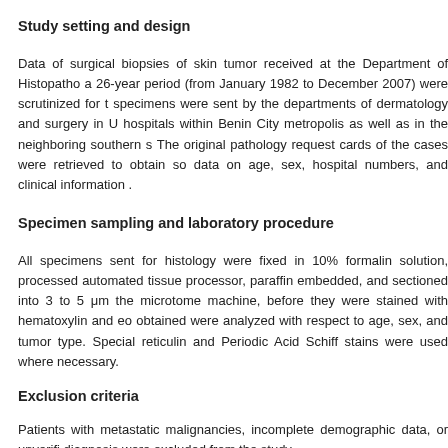Study setting and design
Data of surgical biopsies of skin tumor received at the Department of Histopatho a 26-year period (from January 1982 to December 2007) were scrutinized for t specimens were sent by the departments of dermatology and surgery in U hospitals within Benin City metropolis as well as in the neighboring southern s The original pathology request cards of the cases were retrieved to obtain so data on age, sex, hospital numbers, and clinical information .
Specimen sampling and laboratory procedure
All specimens sent for histology were fixed in 10% formalin solution, processed automated tissue processor, paraffin embedded, and sectioned into 3 to 5 μm the microtome machine, before they were stained with hematoxylin and eo obtained were analyzed with respect to age, sex, and tumor type. Special reticulin and Periodic Acid Schiff stains were used where necessary.
Exclusion criteria
Patients with metastatic malignancies, incomplete demographic data, or unverifi diagnosis were excluded from the study.
Data management
Data obtained were analyzed using the SPSS version 17 statistical machine